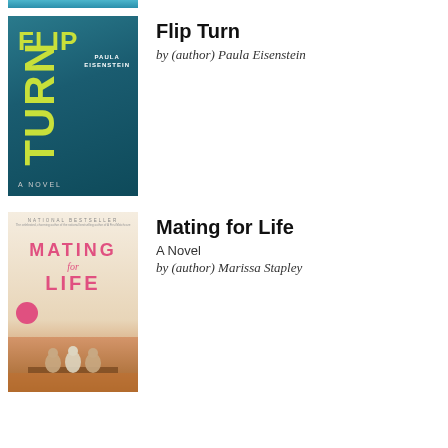[Figure (photo): Top partial book cover strip, teal/blue swimming pool image cropped at top]
[Figure (photo): Book cover of Flip Turn by Paula Eisenstein — dark teal underwater swimming scene with yellow-green title text]
Flip Turn
by (author) Paula Eisenstein
[Figure (photo): Book cover of Mating for Life by Marissa Stapley — cream/pink cover with pink title text, three women sitting on a dock]
Mating for Life
A Novel
by (author) Marissa Stapley